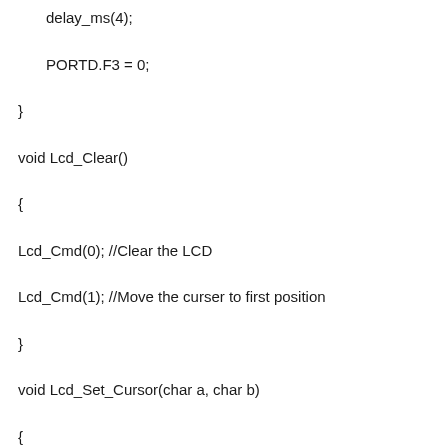delay_ms(4);

    PORTD.F3 = 0;

}

void Lcd_Clear()

{

Lcd_Cmd(0); //Clear the LCD

Lcd_Cmd(1); //Move the curser to first position

}

void Lcd_Set_Cursor(char a, char b)

{

char temp,z,y;

if(a== 1)

{

 temp = 0x80 + b - 1; //80H is used to move the curser